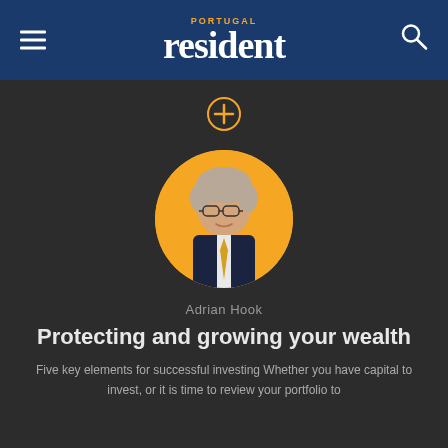PORTUGAL resident
[Figure (photo): Circular portrait photo of Adrian Hook, a middle-aged man with grey hair and glasses, wearing a dark suit with a yellow tie, set against a yellow/orange circular background]
Adrian Hook
Protecting and growing your wealth
Five key elements for successful investing Whether you have capital to invest, or it is time to review your portfolio to